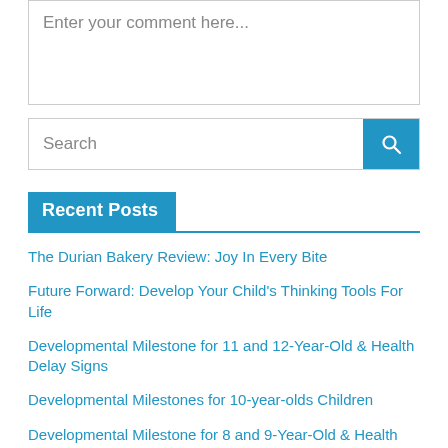Enter your comment here...
Search
Recent Posts
The Durian Bakery Review: Joy In Every Bite
Future Forward: Develop Your Child's Thinking Tools For Life
Developmental Milestone for 11 and 12-Year-Old & Health Delay Signs
Developmental Milestones for 10-year-olds Children
Developmental Milestone for 8 and 9-Year-Old & Health Delay Signs
Developmental Milestone for 6 and 7-Year-Old & Health Delay Signs